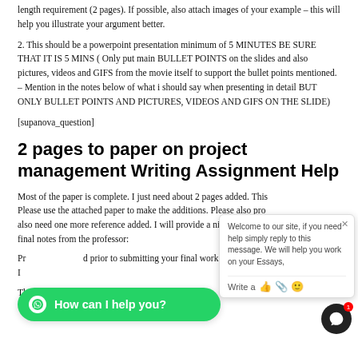length requirement (2 pages). If possible, also attach images of your example – this will help you illustrate your argument better.
2. This should be a powerpoint presentation minimum of 5 MINUTES BE SURE THAT IT IS 5 MINS ( Only put main BULLET POINTS on the slides and also pictures, videos and GIFS from the movie itself to support the bullet points mentioned. – Mention in the notes below of what i should say when presenting in detail BUT ONLY BULLET POINTS AND PICTURES, VIDEOS AND GIFS ON THE SLIDE)
[supanova_question]
2 pages to paper on project management Writing Assignment Help
Most of the paper is complete. I just need about 2 pages added. This Please use the attached paper to make the additions. Please also pro also need one more reference added. I will provide a nice tip on this final notes from the professor:
Pr d prior to submitting your final work. I
The following components are to be submitted:
[Figure (screenshot): Chat popup: 'Welcome to our site, if you need help simply reply to this message. We will help you work on your Essays.' with write/attachment/emoji icons.]
[Figure (screenshot): Green WhatsApp-style button reading 'How can I help you?']
[Figure (screenshot): Black circular chat bubble button with red badge showing '1']